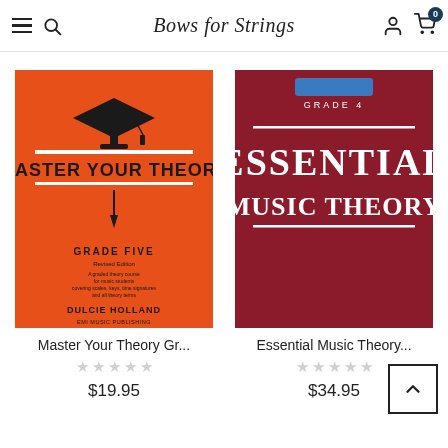Bows for Strings
[Figure (illustration): Book cover: Master Your Theory Grade Five by Dulcie Holland, orange cover with graduation cap, EMI Music Publishing]
Master Your Theory Gr...
★★★★★
$19.95
[Figure (illustration): Book cover: Essential Music Theory Grade 4, dark red/crimson cover with white serif text]
Essential Music Theory...
★★★★★
$34.95